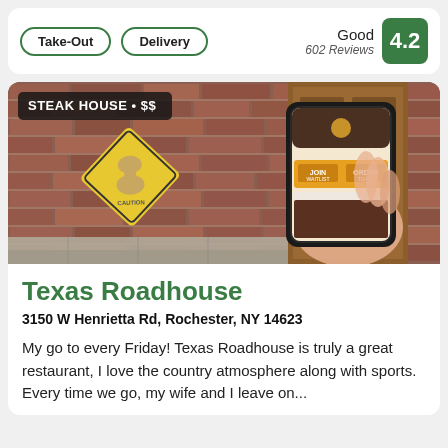Take-Out
Delivery
Good
602 Reviews
4.2
[Figure (photo): Photo of a hand holding a smartphone displaying the Texas Roadhouse app, with a brick wall and wooden door in the background. A yellow caution peanut sign is visible on the wall. A black badge overlay reads 'STEAK HOUSE • $$'.]
Texas Roadhouse
3150 W Henrietta Rd, Rochester, NY 14623
My go to every Friday! Texas Roadhouse is truly a great restaurant, I love the country atmosphere along with sports. Every time we go, my wife and I leave on...